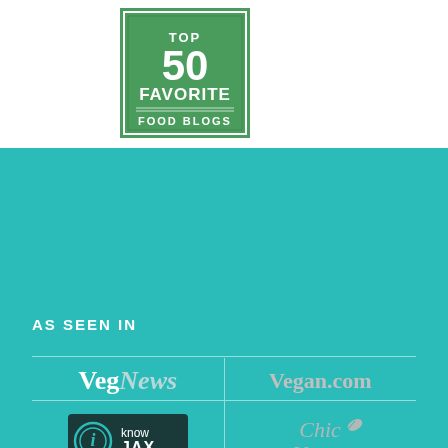[Figure (logo): Green badge with 'TOP 50 FAVORITE FOOD BLOGS' text]
AS SEEN IN
[Figure (logo): VegNews logo in white serif font]
[Figure (logo): Vegan.com logo in gray serif font]
[Figure (logo): iKnowJax logo on dark background]
[Figure (logo): Chic Vegan logo in gray italic script]
[Figure (logo): ALBANY.COM logo in white bold uppercase]
[Figure (logo): Vegan World Radio logo in white bold text]
[Figure (logo): Partially visible logos at bottom]
[Figure (logo): Partially visible logo at bottom right]